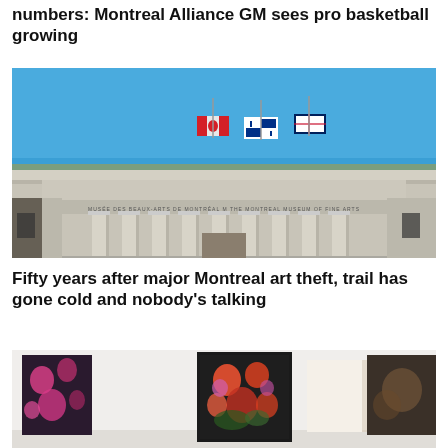numbers: Montreal Alliance GM sees pro basketball growing
[Figure (photo): Exterior of the Montreal Museum of Fine Arts (Musée des beaux-arts de Montréal) building with three flags flying: Canadian, Quebec, and Montreal flags against a clear blue sky. The neoclassical building facade shows the museum name inscribed above the columns.]
Fifty years after major Montreal art theft, trail has gone cold and nobody's talking
[Figure (photo): Interior of an art gallery with colorful floral paintings on white walls, partially visible at the bottom of the page.]